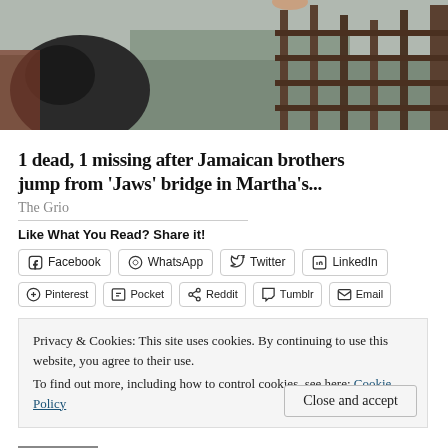[Figure (photo): Outdoor photo showing people on a wooden bridge/dock structure near water and beach landscape, dark and moody tones]
1 dead, 1 missing after Jamaican brothers jump from 'Jaws' bridge in Martha's...
The Grio
Like What You Read? Share it!
Privacy & Cookies: This site uses cookies. By continuing to use this website, you agree to their use.
To find out more, including how to control cookies, see here: Cookie Policy
26 bloggers like this.